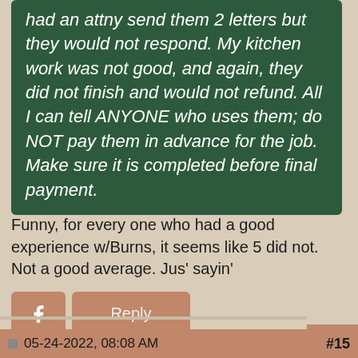had an attny send them 2 letters but they would not respond. My kitchen work was not good, and again, they did not finish and would not refund. All I can tell ANYONE who uses them; do NOT pay them in advance for the job. Make sure it is completed before final payment.
Funny, for every one who had a good experience w/Burns, it seems like 5 did not. Not a good average. Jus' sayin'
05-24-2022, 08:08 AM  #15